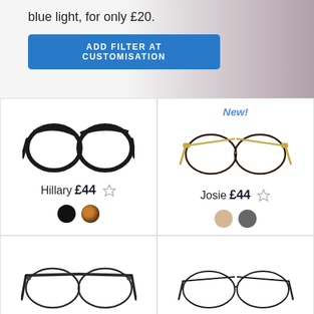blue light, for only £20.
ADD FILTER AT CUSTOMISATION
[Figure (photo): Round black plastic frame glasses - Hillary]
Hillary £44 ☆
[Figure (photo): Round metal frame glasses with gold accents - Josie, labeled New!]
Josie £44 ☆
[Figure (photo): Round metal frame glasses - bottom left product]
[Figure (photo): Round thin metal frame glasses - bottom right product]